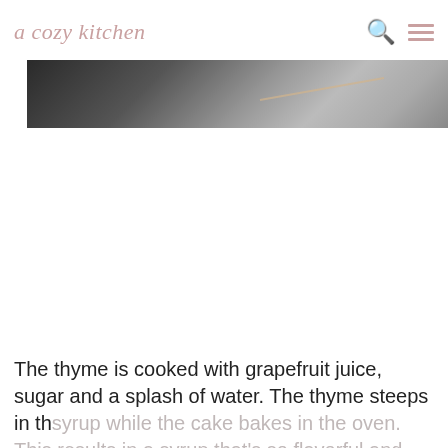a cozy kitchen
[Figure (photo): Partial photo showing dark marble surface with a wooden utensil, cropped at top of page]
The thyme is cooked with grapefruit juice, sugar and a splash of water. The thyme steeps in the syrup while the cake bakes in the oven. This results in a syrup that's so flavorful and